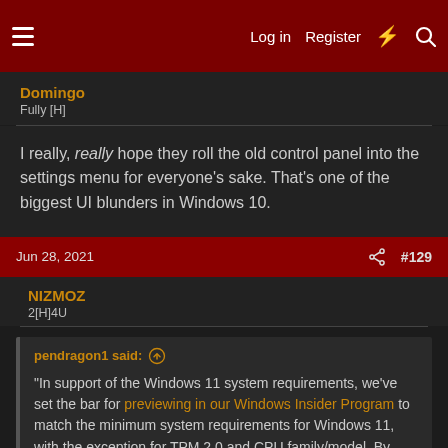Log in  Register  ⚡  🔍
Domingo
Fully [H]
I really, really hope they roll the old control panel into the settings menu for everyone's sake. That's one of the biggest UI blunders in Windows 10.
Jun 28, 2021  #129
NIZMOZ
2[H]4U
pendragon1 said: ↑
"In support of the Windows 11 system requirements, we've set the bar for previewing in our Windows Insider Program to match the minimum system requirements for Windows 11, with the exception for TPM 2.0 and CPU family/model. By providing preview builds to the diverse systems in our Windows Insider